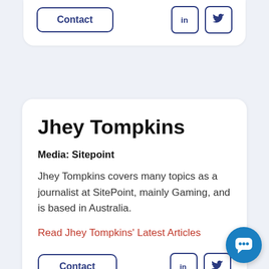[Figure (screenshot): Top partial card with Contact button and LinkedIn/Twitter social icons]
Jhey Tompkins
Media: Sitepoint
Jhey Tompkins covers many topics as a journalist at SitePoint, mainly Gaming, and is based in Australia.
Read Jhey Tompkins' Latest Articles
[Figure (screenshot): Bottom row with Contact button, LinkedIn icon, Twitter icon, and blue chat widget button]